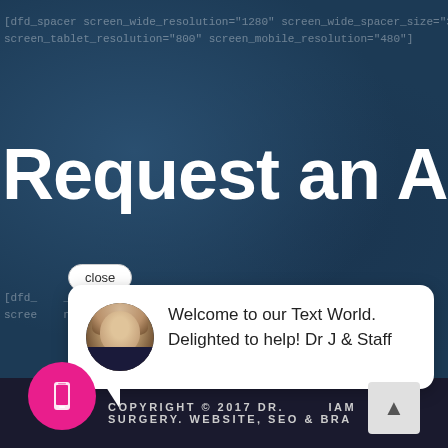[dfd_spacer screen_wide_resolution="1280" screen_wide_spacer_size="30" sc
screen_tablet_resolution="800" screen_mobile_resolution="480"]
Request an Appo
close
[dfd_    _e_spacer_size="15" sc
scree    n="480"]
Welcome to our Text World. Delighted to help! Dr J & Staff
COPYRIGHT © 2017 DR. [MIAMI] SURGERY. WEBSITE, SEO & BRA
[Figure (screenshot): Screenshot of a medical/cosmetic surgery website showing a chat widget popup. The page has a dark blue textured background with partially visible shortcode text, a large white heading 'Request an Appo' (truncated), a close button, a white chat bubble with an avatar photo of a blonde woman and the message 'Welcome to our Text World. Delighted to help! Dr J & Staff', a pink circle with phone icon in the footer, copyright text, and a scroll-to-top button.]